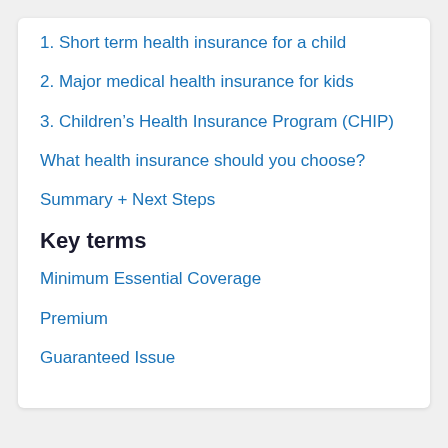1. Short term health insurance for a child
2. Major medical health insurance for kids
3. Children's Health Insurance Program (CHIP)
What health insurance should you choose?
Summary + Next Steps
Key terms
Minimum Essential Coverage
Premium
Guaranteed Issue
Can You Buy Child-Only Health Insurance?